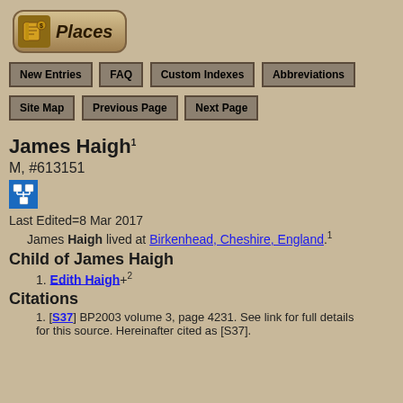[Figure (logo): Places logo with book/scroll icon and italic Places text in rounded rectangle]
New Entries | FAQ | Custom Indexes | Abbreviations | Site Map | Previous Page | Next Page
James Haigh1
M, #613151
[Figure (icon): Blue icon with family tree / org chart symbol]
Last Edited=8 Mar 2017
James Haigh lived at Birkenhead, Cheshire, England.1
Child of James Haigh
1. Edith Haigh+2
Citations
1. [S37] BP2003 volume 3, page 4231. See link for full details for this source. Hereinafter cited as [S37].